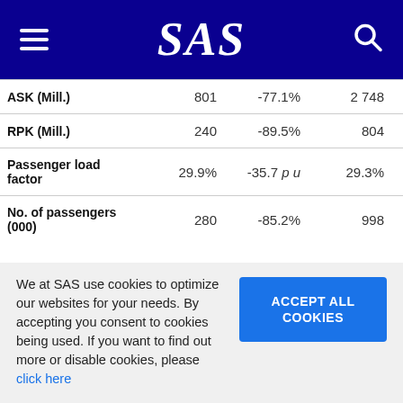SAS
|  |  |  |  |  |
| --- | --- | --- | --- | --- |
| ASK (Mill.) | 801 | -77.1% | 2 748 | -74.5% |
| RPK (Mill.) | 240 | -89.5% | 804 | -89.1% |
| Passenger load factor | 29.9% | -35.7 pu | 29.3% | -39.2 pu |
| No. of passengers (000) | 280 | -85.2% | 998 | -83.7% |
We at SAS use cookies to optimize our websites for your needs. By accepting you consent to cookies being used. If you want to find out more or disable cookies, please click here